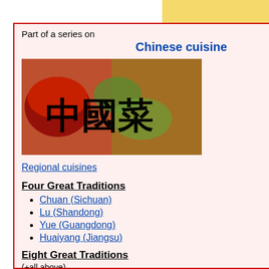Part of a series on
Chinese cuisine
[Figure (photo): Photo of Chinese dishes with Chinese characters 中國菜 overlaid]
Regional cuisines
Four Great Traditions
Chuan (Sichuan)
Lu (Shandong)
Yue (Guangdong)
Huaiyang (Jiangsu)
Eight Great Traditions
(+all above)
Anhui
Fujian
Hunan
Zhejiang